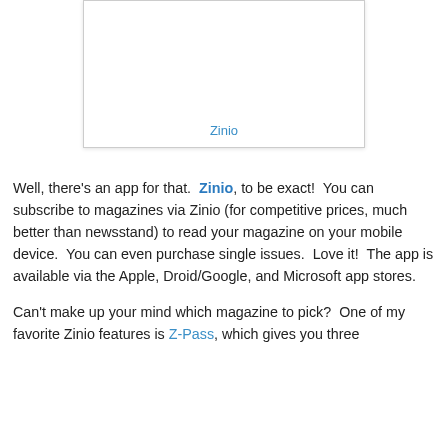[Figure (other): Screenshot or image placeholder box with 'Zinio' label at the bottom center]
Well, there's an app for that.  Zinio, to be exact!  You can subscribe to magazines via Zinio (for competitive prices, much better than newsstand) to read your magazine on your mobile device.  You can even purchase single issues.  Love it!  The app is available via the Apple, Droid/Google, and Microsoft app stores.
Can't make up your mind which magazine to pick?  One of my favorite Zinio features is Z-Pass, which gives you three